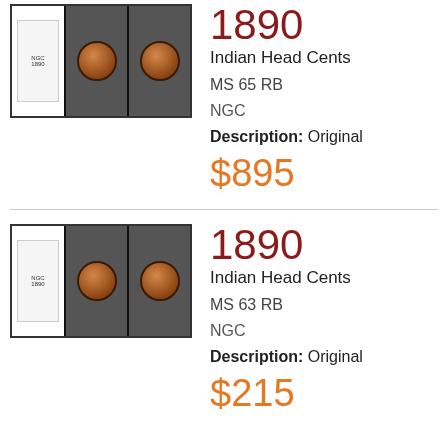[Figure (photo): Three coin images in slabs/holders for 1890 Indian Head Cent MS 65 RB]
1890
Indian Head Cents
MS 65 RB
NGC
Description: Original
$895
[Figure (photo): Three coin images in slabs/holders for 1890 Indian Head Cent MS 63 RB]
1890
Indian Head Cents
MS 63 RB
NGC
Description: Original
$215